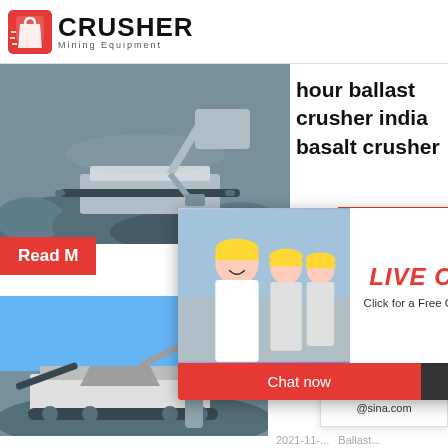[Figure (logo): Crusher Mining Equipment logo with red shopping bag icon and bold CRUSHER text]
[Figure (photo): Excavator and crusher machinery operating at a quarry site with rocks]
hour ballast crusher india basalt crusher
2019-1-...
24Hrs Online
Read M...
[Figure (photo): Live Chat overlay with workers in hard hats and customer service representative with headset. Title: LIVE CHAT. Subtitle: Click for a Free Consultation. Buttons: Chat now, Chat later]
Need questions & suggestion?
Chat Now
Enquiry
limingjlmofen@sina.com
[Figure (photo): Mobile crushing and screening plant in an open quarry under blue sky]
Ballast... Screen... In South... Crusher...
2021-11-...  Ballast...